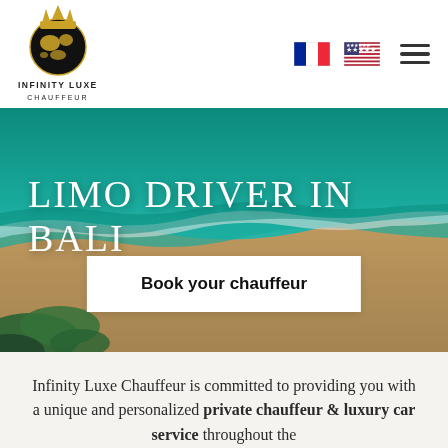[Figure (logo): Infinity Luxe Chauffeur logo: golden globe with crown, text INFINITY LUXE CHAUFFEUR]
[Figure (photo): Aerial view of Bali beach with turquoise ocean waves meeting sandy shore and green vegetation]
LIMO DRIVER IN BALI
Book your chauffeur
Infinity Luxe Chauffeur is committed to providing you with a unique and personalized private chauffeur & luxury car service throughout the